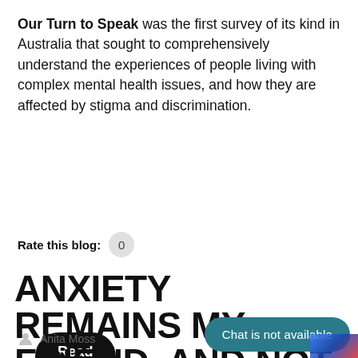Our Turn to Speak was the first survey of its kind in Australia that sought to comprehensively understand the experiences of people living with complex mental health issues, and how they are affected by stigma and discrimination.
Read more
Rate this blog: 0
ANXIETY REMAINS MY FRIEND, AND NOT MY FOE.
Anita Moss
Chat is not available